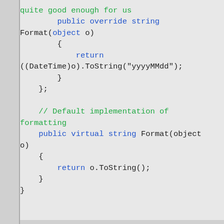[Figure (screenshot): Code snippet showing C# code with a public override string Format method returning a DateTime formatted as yyyyMMdd, followed by a comment and a public virtual string Format method returning o.ToString(). Syntax highlighted with blue keywords and green comments.]